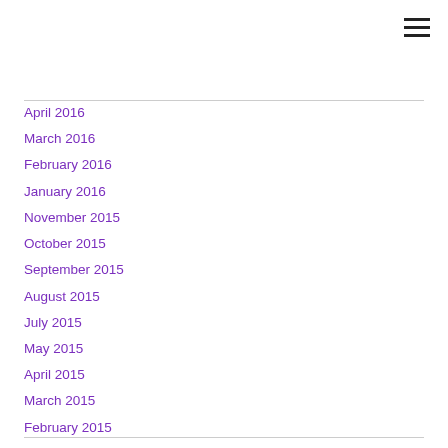April 2016
March 2016
February 2016
January 2016
November 2015
October 2015
September 2015
August 2015
July 2015
May 2015
April 2015
March 2015
February 2015
January 2015
December 2014
November 2014